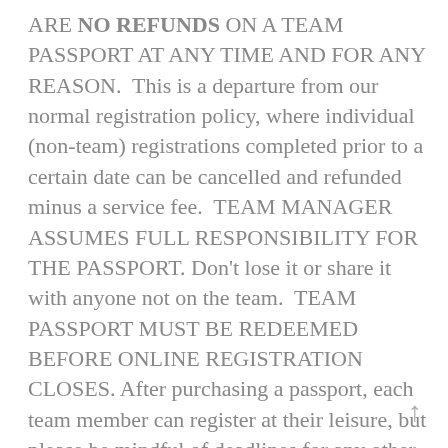ARE NO REFUNDS ON A TEAM PASSPORT AT ANY TIME AND FOR ANY REASON.  This is a departure from our normal registration policy, where individual (non-team) registrations completed prior to a certain date can be cancelled and refunded minus a service fee.  TEAM MANAGER ASSUMES FULL RESPONSIBILITY FOR THE PASSPORT. Don't lose it or share it with anyone not on the team.  TEAM PASSPORT MUST BE REDEEMED BEFORE ONLINE REGISTRATION CLOSES. After purchasing a passport, each team member can register at their leisure, but please be mindful of deadlines for any other promotions (i.e. complimentary jersey) and the end of online registration (May 31st 2016).